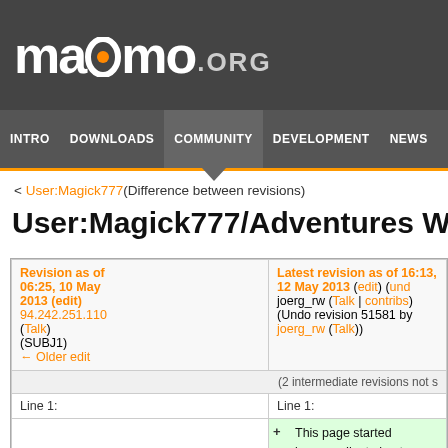maemo.org
INTRO | DOWNLOADS | COMMUNITY | DEVELOPMENT | NEWS
< User:Magick777 (Difference between revisions)
User:Magick777/Adventures With D-Bu
| Revision as of 06:25, 10 May 2013 (edit) | Latest revision as of 16:13, 12 May 2013 (edit) (und... |
| --- | --- |
| 94.242.251.110
(Talk)
(SUBJ1)
← Older edit | joerg_rw (Talk | contribs)
(Undo revision 51581 by joerg_rw (Talk)) |
| (2 intermediate revisions not shown) |  |
| Line 1: | Line 1: |
|  | + This page started because I'm trying to figure out D-Bu Telepathy, and the documentation is, shall we say, b don't seem to include a simple way to place a call a... |